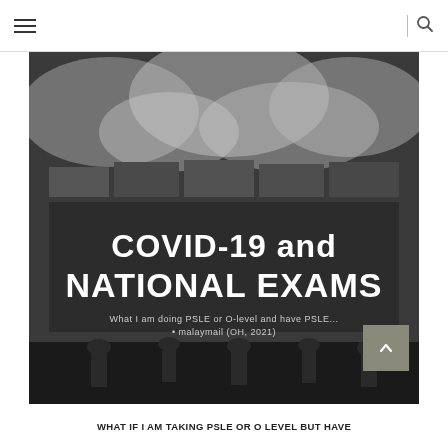Menu | Search
[Figure (photo): Black and white photograph showing a banner or sign reading 'COVID-19 and NATIONAL EXAMS' with additional text below, and people visible at the bottom of the image.]
WHAT IF I AM TAKING PSLE OR O LEVEL BUT HAVE